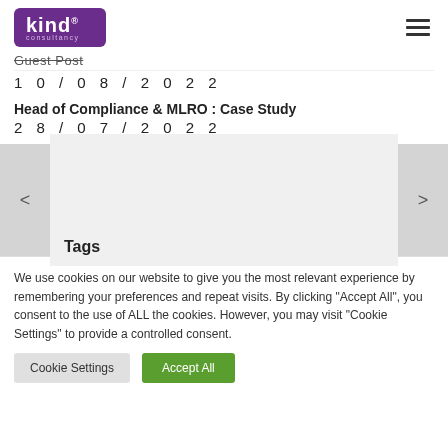kind consultancy [logo] [hamburger menu]
Guest Post
1 0 / 0 8 / 2 0 2 2
Head of Compliance & MLRO : Case Study
2 8 / 0 7 / 2 0 2 2
Tags
We use cookies on our website to give you the most relevant experience by remembering your preferences and repeat visits. By clicking "Accept All", you consent to the use of ALL the cookies. However, you may visit "Cookie Settings" to provide a controlled consent.